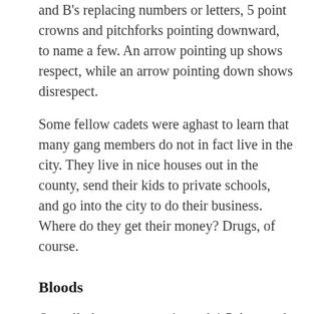and B's replacing numbers or letters, 5 point crowns and pitchforks pointing downward, to name a few. An arrow pointing up shows respect, while an arrow pointing down shows disrespect.
Some fellow cadets were aghast to learn that many gang members do not in fact live in the city. They live in nice houses out in the county, send their kids to private schools, and go into the city to do their business.  Where do they get their money? Drugs, of course.
Bloods
Overall, there are an estimated 4-5 thousand gang members in Baltimore.  Of those thousands, 545 are documented Blood gang members in Baltimore City through the BPD, approximately the